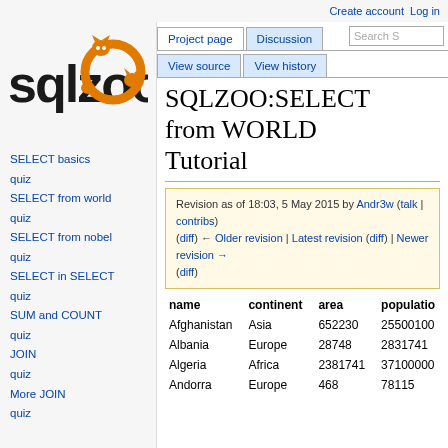Create account  Log in
[Figure (logo): SQLZOO logo with orange animal mascots]
SELECT basics
quiz
SELECT from world
quiz
SELECT from nobel
quiz
SELECT in SELECT
quiz
SUM and COUNT
quiz
JOIN
quiz
More JOIN
quiz
SQLZOO:SELECT from WORLD Tutorial
Revision as of 18:03, 5 May 2015 by Andr3w (talk | contribs)
(diff) ← Older revision | Latest revision (diff) | Newer revision → (diff)
| name | continent | area | population |
| --- | --- | --- | --- |
| Afghanistan | Asia | 652230 | 25500100 |
| Albania | Europe | 28748 | 2831741 |
| Algeria | Africa | 2381741 | 37100000 |
| Andorra | Europe | 468 | 78115 |